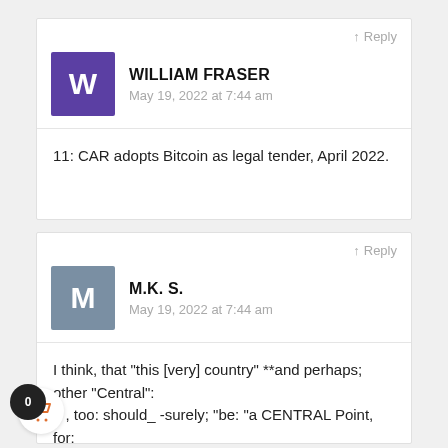↑ Reply
WILLIAM FRASER
May 19, 2022 at 7:44 am
11: CAR adopts Bitcoin as legal tender, April 2022.
↑ Reply
M.K. S.
May 19, 2022 at 7:44 am
I think, that "this [very] country" **and perhaps; other "Central":
, too: should_ -surely; "be: "a CENTRAL Point, for:
ing ALL of the AfriCAN Continent:
ALL together!!"!!"!!"!!